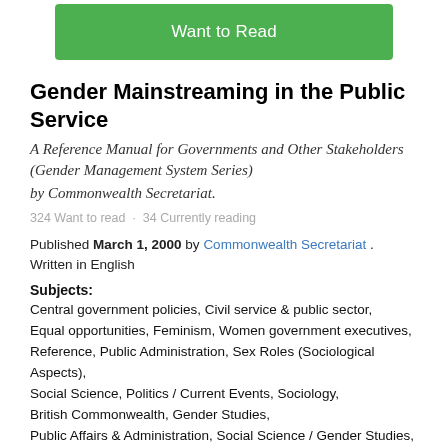[Figure (other): Green 'Want to Read' button]
Gender Mainstreaming in the Public Service
A Reference Manual for Governments and Other Stakeholders (Gender Management System Series)
by Commonwealth Secretariat.
324 Want to read · 34 Currently reading
Published March 1, 2000 by Commonwealth Secretariat . Written in English
Subjects:
Central government policies, Civil service & public sector, Equal opportunities, Feminism, Women government executives, Reference, Public Administration, Sex Roles (Sociological Aspects), Social Science, Politics / Current Events, Sociology, British Commonwealth, Gender Studies, Public Affairs & Administration, Social Science / Gender Studies, Women in the civil service, Affirmative action programs, Commonwealth countries, Sex discrimination in employme
The Physical Object